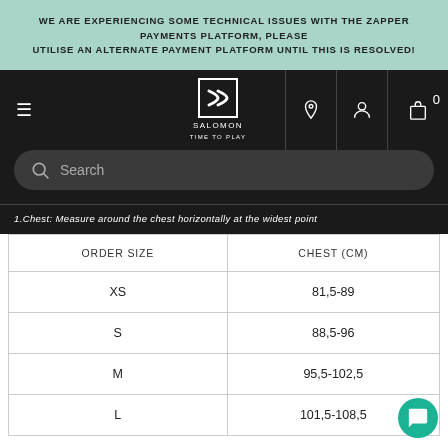WE ARE EXPERIENCING SOME TECHNICAL ISSUES WITH THE ZAPPER PAYMENTS PLATFORM, PLEASE UTILISE AN ALTERNATE PAYMENT PLATFORM UNTIL THIS IS RESOLVED!
[Figure (logo): Salomon 'Time to Play' logo with navigation bar including hamburger menu, location, account, and cart icons on dark background, plus search bar]
1.Chest: Measure around the chest horizontally at the widest point
| ORDER SIZE | CHEST (CM) |
| --- | --- |
| XS | 81,5-89 |
| S | 88,5-96 |
| M | 95,5-102,5 |
| L | 101,5-108,5 |